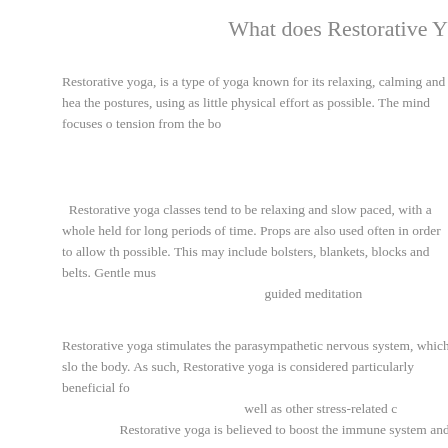What does Restorative Y
Restorative yoga, is a type of yoga known for its relaxing, calming and hea the postures, using as little physical effort as possible. The mind focuses o tension from the bo
Restorative yoga classes tend to be relaxing and slow paced, with a whole held for long periods of time. Props are also used often in order to allow th possible. This may include bolsters, blankets, blocks and belts. Gentle mus guided meditation
Restorative yoga stimulates the parasympathetic nervous system, which slo the body. As such, Restorative yoga is considered particularly beneficial fo well as other stress-related c
Restorative yoga is believed to boost the immune system and a